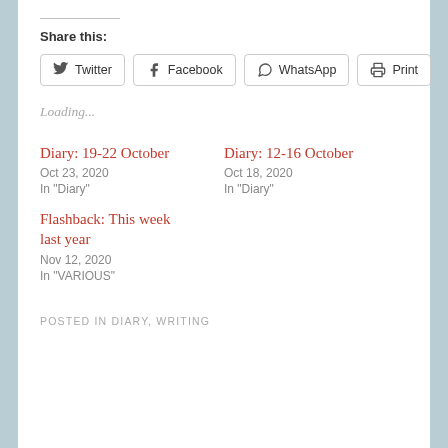Share this:
[Figure (other): Social share buttons: Twitter, Facebook, WhatsApp, Print]
Loading...
Diary: 19-22 October
Oct 23, 2020
In "Diary"
Diary: 12-16 October
Oct 18, 2020
In "Diary"
Flashback: This week last year
Nov 12, 2020
In "VARIOUS"
POSTED IN DIARY, WRITING